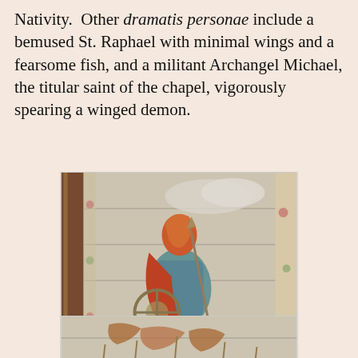Nativity. Other dramatis personae include a bemused St. Raphael with minimal wings and a fearsome fish, and a militant Archangel Michael, the titular saint of the chapel, vigorously spearing a winged demon.
[Figure (photo): A photograph of a painted panel or ceiling showing a figure in red and orange robes (likely Archangel Michael) riding or standing over a winged demon, rendered in folk art style on aged wooden boards. Decorative floral borders on the sides.]
[Figure (photo): A partial photograph of another painted panel showing figures with wings and plant-like details in muted tones, cut off at the bottom of the page.]